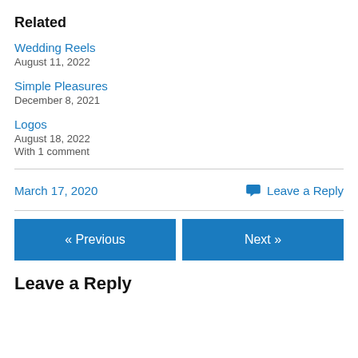Related
Wedding Reels
August 11, 2022
Simple Pleasures
December 8, 2021
Logos
August 18, 2022
With 1 comment
March 17, 2020
Leave a Reply
« Previous
Next »
Leave a Reply